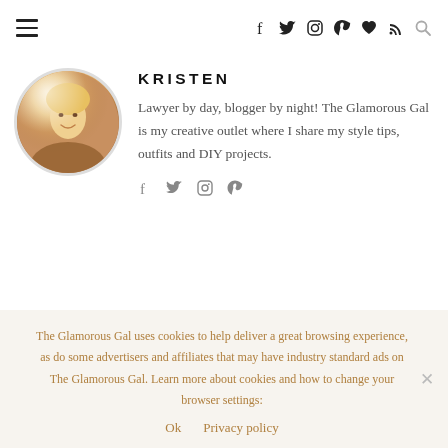Navigation bar with hamburger menu and social icons: f (Facebook), twitter, instagram, pinterest, heart, rss, search
KRISTEN
Lawyer by day, blogger by night! The Glamorous Gal is my creative outlet where I share my style tips, outfits and DIY projects.
[Figure (illustration): Small social icons: facebook, twitter, instagram, pinterest]
The Glamorous Gal uses cookies to help deliver a great browsing experience, as do some advertisers and affiliates that may have industry standard ads on The Glamorous Gal. Learn more about cookies and how to change your browser settings:
Ok    Privacy policy